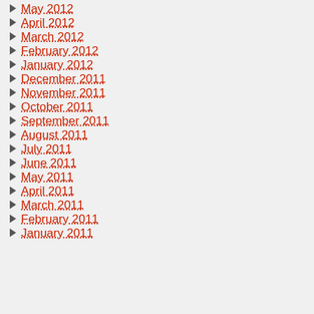May 2012
April 2012
March 2012
February 2012
January 2012
December 2011
November 2011
October 2011
September 2011
August 2011
July 2011
June 2011
May 2011
April 2011
March 2011
February 2011
January 2011